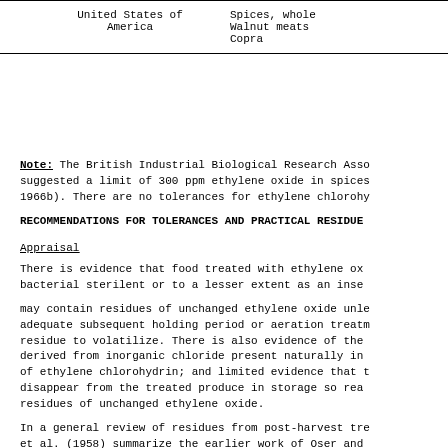| Country | Commodities |
| --- | --- |
| United States of America | Spices, whole
Walnut meats
Copra |
Note: The British Industrial Biological Research Asso suggested a limit of 300 ppm ethylene oxide in spices 1966b). There are no tolerances for ethylene chlorohy
RECOMMENDATIONS FOR TOLERANCES AND PRACTICAL RESIDUE
Appraisal
There is evidence that food treated with ethylene ox bacterial sterilent or to a lesser extent as an inse
may contain residues of unchanged ethylene oxide unle adequate subsequent holding period or aeration treatm residue to volatilize. There is also evidence of the derived from inorganic chloride present naturally in of ethylene chlorohydrin; and limited evidence that t disappear from the treated produce in storage so rea residues of unchanged ethylene oxide.
In a general review of residues from post-harvest tre et al. (1958) summarize the earlier work of Oser and Bakerman et al. (1956) and Mickelsen (1957) on the vi ethylene oxide treatment.